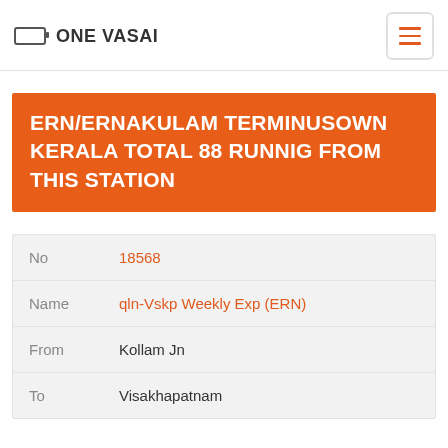ONE VASAI
ERN/ERNAKULAM TERMINUSOWN KERALA TOTAL 88 RUNNIG FROM THIS STATION
| Field | Value |
| --- | --- |
| No | 18568 |
| Name | qln-Vskp Weekly Exp (ERN) |
| From | Kollam Jn |
| To | Visakhapatnam |